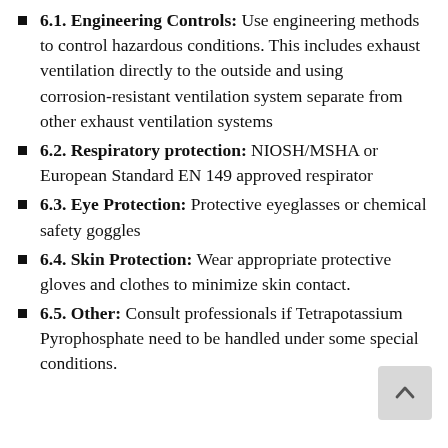6.1. Engineering Controls: Use engineering methods to control hazardous conditions. This includes exhaust ventilation directly to the outside and using corrosion-resistant ventilation system separate from other exhaust ventilation systems
6.2. Respiratory protection: NIOSH/MSHA or European Standard EN 149 approved respirator
6.3. Eye Protection: Protective eyeglasses or chemical safety goggles
6.4. Skin Protection: Wear appropriate protective gloves and clothes to minimize skin contact.
6.5. Other: Consult professionals if Tetrapotassium Pyrophosphate need to be handled under some special conditions.